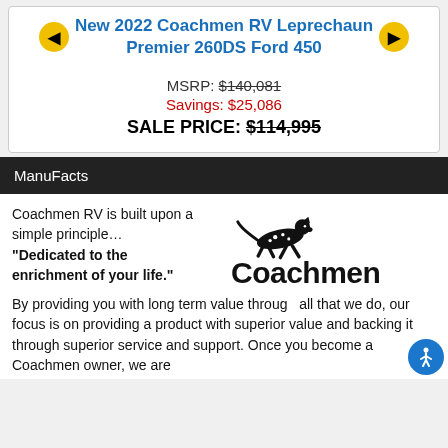New 2022 Coachmen RV Leprechaun Premier 260DS Ford 450
MSRP: $140,081
Savings: $25,086
SALE PRICE: $114,995
ManuFacts
Coachmen RV is built upon a simple principle… "Dedicated to the enrichment of your life." By providing you with long term value through all that we do, our focus is on providing a product with superior value and backing it through superior service and support. Once you become a Coachmen owner, we are committed to keeping you as a Coachmen RV owner, this is
[Figure (logo): Coachmen logo with running cheetah/dalmatian and bold Coachmen text]